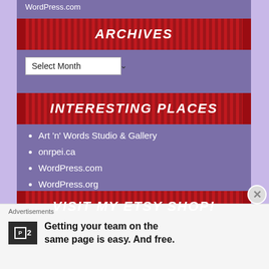WordPress.com
ARCHIVES
Select Month
INTERESTING PLACES
Art 'n' Words Studio & Gallery
onrpei.ca
WordPress.com
WordPress.org
VISIT MY ETSY SHOP!
Advertisements
Getting your team on the same page is easy. And free.